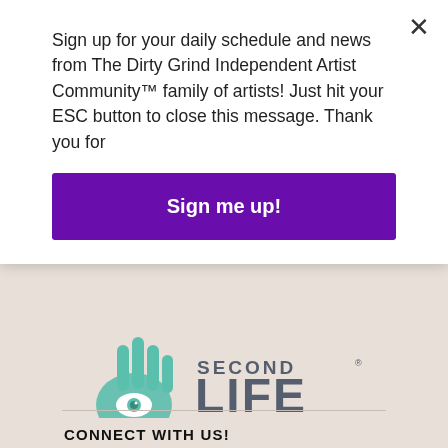Sign up for your daily schedule and news from The Dirty Grind Independent Artist Community™ family of artists! Just hit your ESC button to close this message. Thank you for
[Figure (illustration): Purple 'Sign me up!' button]
[Figure (logo): Second Life Blogger Network logo with hand/eye icon and orange BLOGGER text]
CONNECT WITH US!